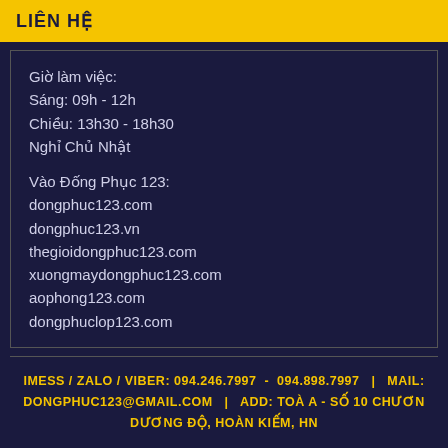LIÊN HỆ
Giờ làm việc:
Sáng: 09h - 12h
Chiều: 13h30 - 18h30
Nghỉ Chủ Nhật

Vào Đống Phục 123:
dongphuc123.com
dongphuc123.vn
thegioidongphuc123.com
xuongmaydongphuc123.com
aophong123.com
dongphuclop123.com
IMESS / ZALO / VIBER: 094.246.7997  -  094.898.7997  |  MAIL: DONGPHUC123@GMAIL.COM  |  ADD: TOÀ A - SỐ 10 CHƯƠNG DƯƠNG ĐỘ, HOÀN KIẾM, HN